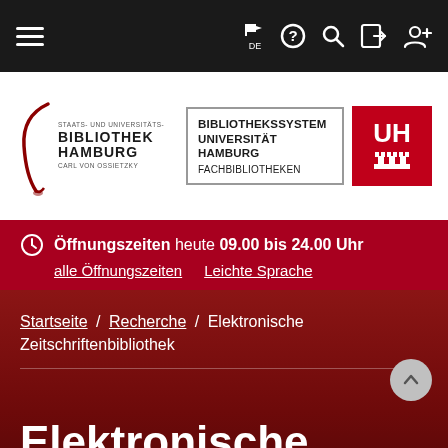[Figure (screenshot): Top navigation bar with hamburger menu icon on the left and icons (flag/DE, question mark, search, login, add user) on the right, all white on dark background]
[Figure (logo): Staats- und Universitätsbibliothek Hamburg Carl von Ossietzky logo on left, Bibliothekssystem Universität Hamburg Fachbibliotheken text in bordered box in center, UH red square logo on right]
Öffnungszeiten heute 09.00 bis 24.00 Uhr  alle Öffnungszeiten  Leichte Sprache
Startseite / Recherche / Elektronische Zeitschriftenbibliothek
Elektronische